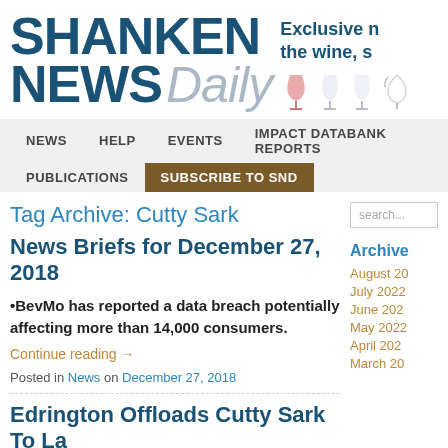SHANKEN NEWS Daily
Exclusive [news for] the wine, s[pirits industry]
NEWS  HELP  EVENTS  IMPACT DATABANK REPORTS  PUBLICATIONS  SUBSCRIBE TO SND
Tag Archive: Cutty Sark
News Briefs for December 27, 2018
•BevMo has reported a data breach potentially affecting more than 14,000 consumers.
Continue reading →
Posted in News on December 27, 2018
Edrington Offloads Cutty Sark To La
Archive
August 20[22]
July 2022
June 202[2]
May 2022
April 202[2]
March 20[22]